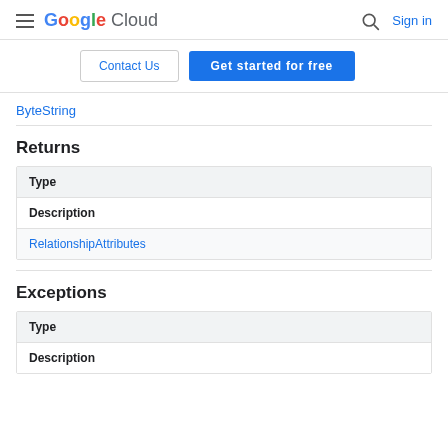Google Cloud — Sign in
Contact Us | Get started for free
ByteString
Returns
| Type | Description |
| --- | --- |
| RelationshipAttributes |  |
Exceptions
| Type | Description |
| --- | --- |